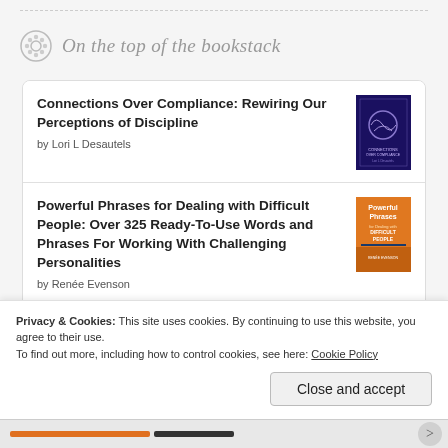On the top of the bookstack
Connections Over Compliance: Rewiring Our Perceptions of Discipline by Lori L Desautels
Powerful Phrases for Dealing with Difficult People: Over 325 Ready-To-Use Words and Phrases For Working With Challenging Personalities by Renée Evenson
Keep Sharp: Build a Better Brain at Any Age by Sanjay Gupta
Privacy & Cookies: This site uses cookies. By continuing to use this website, you agree to their use.
To find out more, including how to control cookies, see here: Cookie Policy
Close and accept